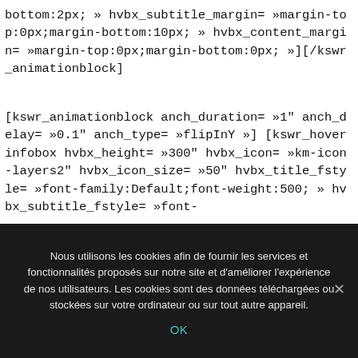bottom:2px; » hvbx_subtitle_margin= »margin-top:0px;margin-bottom:10px; » hvbx_content_margin= »margin-top:0px;margin-bottom:0px; »][/kswr_animationblock]
[kswr_animationblock anch_duration= »1" anch_delay= »0.1" anch_type= »flipInY »] [kswr_hoverinfobox hvbx_height= »300" hvbx_icon= »km-icon-layers2" hvbx_icon_size= »50" hvbx_title_fstyle= »font-family:Default;font-weight:500; » hvbx_subtitle_fstyle= »font-
Nous utilisons les cookies afin de fournir les services et fonctionnalités proposés sur notre site et d'améliorer l'expérience de nos utilisateurs. Les cookies sont des données téléchargées ou stockées sur votre ordinateur ou sur tout autre appareil.
OK